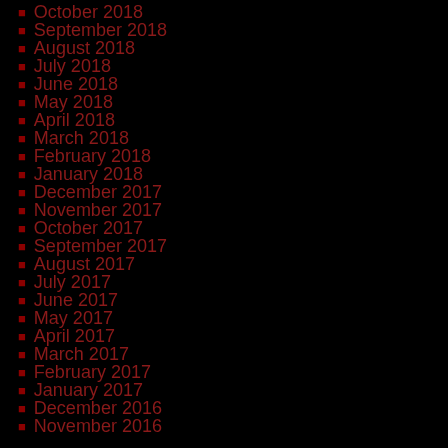October 2018
September 2018
August 2018
July 2018
June 2018
May 2018
April 2018
March 2018
February 2018
January 2018
December 2017
November 2017
October 2017
September 2017
August 2017
July 2017
June 2017
May 2017
April 2017
March 2017
February 2017
January 2017
December 2016
November 2016